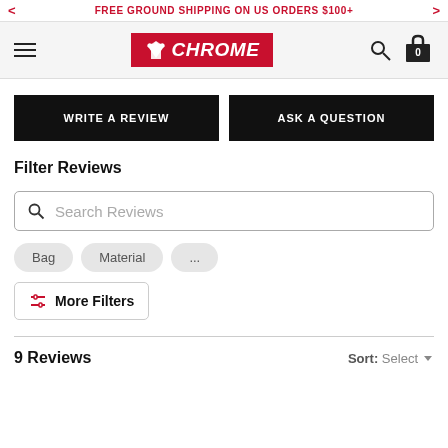FREE GROUND SHIPPING ON US ORDERS $100+
[Figure (logo): Chrome Industries logo — red rectangle with white winged figure and CHROME text in white italic bold]
WRITE A REVIEW
ASK A QUESTION
Filter Reviews
Search Reviews
Bag
Material
...
More Filters
9 Reviews
Sort: Select